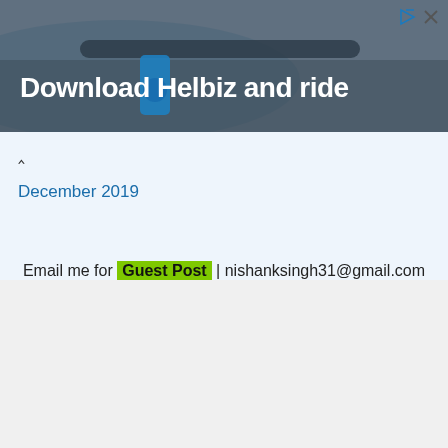[Figure (photo): Advertisement banner for Helbiz scooter app showing handlebar close-up with text 'Download Helbiz and ride']
December 2019
Email me for Guest Post | nishanksingh31@gmail.com
[Figure (infographic): Social media icons: Facebook, Twitter, Instagram, Pinterest]
Made with ❤ by Smarthuskies © All Rights Reserved 2022
Terms & Conditions
Disclaimer Page
Contact Us